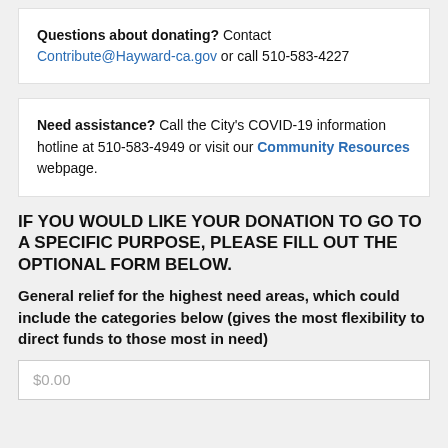Questions about donating? Contact Contribute@Hayward-ca.gov or call 510-583-4227
Need assistance? Call the City's COVID-19 information hotline at 510-583-4949 or visit our Community Resources webpage.
IF YOU WOULD LIKE YOUR DONATION TO GO TO A SPECIFIC PURPOSE, PLEASE FILL OUT THE OPTIONAL FORM BELOW.
General relief for the highest need areas, which could include the categories below (gives the most flexibility to direct funds to those most in need)
$0.00